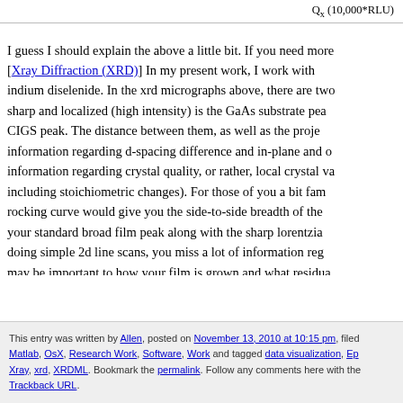[Figure (other): Partial chart header showing axis label Q_x (10,000*RLU)]
I guess I should explain the above a little bit. If you need more [Xray Diffraction (XRD)] In my present work, I work with indium diselenide. In the xrd micrographs above, there are two sharp and localized (high intensity) is the GaAs substrate pea CIGS peak. The distance between them, as well as the proje information regarding d-spacing difference and in-plane and o information regarding crystal quality, or rather, local crystal va including stoichiometric changes). For those of you a bit fam rocking curve would give you the side-to-side breadth of the your standard broad film peak along with the sharp lorentzia doing simple 2d line scans, you miss a lot of information reg may be important to how your film is grown and what residua your film.
This entry was written by Allen, posted on November 13, 2010 at 10:15 pm, filed under Matlab, OsX, Research Work, Software, Work and tagged data visualization, Ep Xray, xrd, XRDML. Bookmark the permalink. Follow any comments here with the Trackback URL.